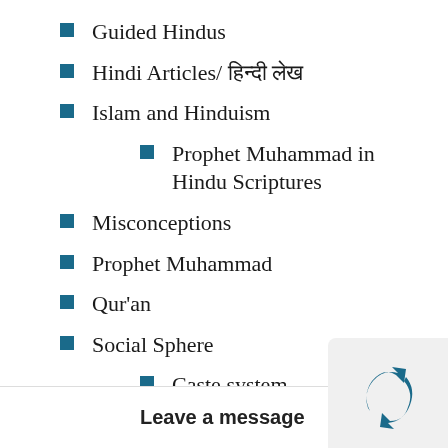Guided Hindus
Hindi Articles/ हिंदी लेख
Islam and Hinduism
Prophet Muhammad in Hindu Scriptures
Misconceptions
Prophet Muhammad
Qur'an
Social Sphere
Caste system
Ethics and Values
Family Issues
Status of Women
Worship
Leave a message